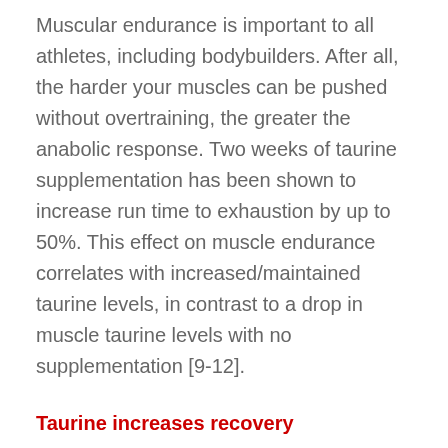Muscular endurance is important to all athletes, including bodybuilders. After all, the harder your muscles can be pushed without overtraining, the greater the anabolic response. Two weeks of taurine supplementation has been shown to increase run time to exhaustion by up to 50%. This effect on muscle endurance correlates with increased/maintained taurine levels, in contrast to a drop in muscle taurine levels with no supplementation [9-12].
Taurine increases recovery
Science has repeatedly shown that taurine is a powerful antioxidant and membrane-stabilizing agent. Exercise stress destabilizes and damages muscle cells by a number of different mechanisms, including oxidative stress [13]; the antioxidant properties of taurine can ameliorate these